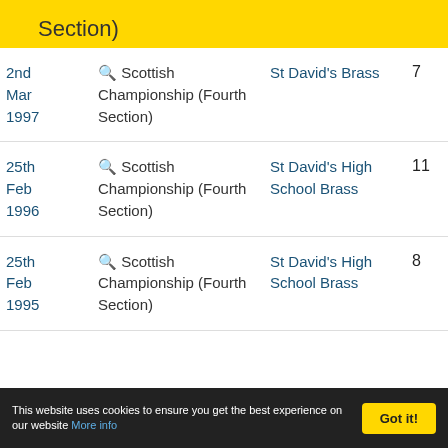Section)
| Date | Event | Band | Pos | Total |
| --- | --- | --- | --- | --- |
| 2nd Mar 1997 | 🔍 Scottish Championship (Fourth Section) | St David's Brass | 7 | 17 |
| 25th Feb 1996 | 🔍 Scottish Championship (Fourth Section) | St David's High School Brass | 11 | 16 |
| 25th Feb 1995 | 🔍 Scottish Championship (Fourth Section) | St David's High School Brass | 8 | 17 |
This website uses cookies to ensure you get the best experience on our website More info Got it!